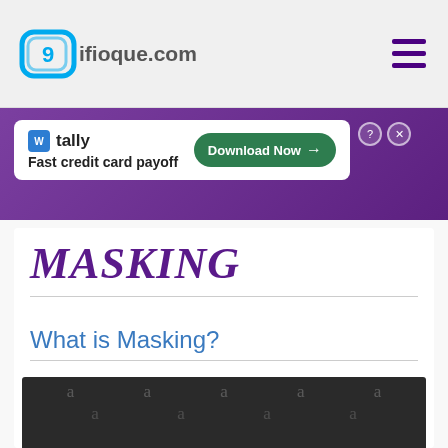ifioque.com
[Figure (screenshot): Advertisement banner for Tally app - Fast credit card payoff - Download Now button]
MASKING
What is Masking?
[Figure (photo): Dark background photo with watermark letters 'a' repeated in a grid pattern, partially visible hand at bottom]